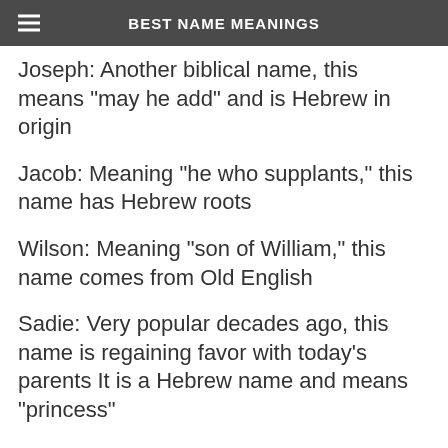BEST NAME MEANINGS
Joseph: Another biblical name, this means "may he add" and is Hebrew in origin
Jacob: Meaning "he who supplants," this name has Hebrew roots
Wilson: Meaning "son of William," this name comes from Old English
Sadie: Very popular decades ago, this name is regaining favor with today's parents It is a Hebrew name and means "princess"
Nora: This name has an English origin and means "woman of honor"
Adam: A popular name that comes from